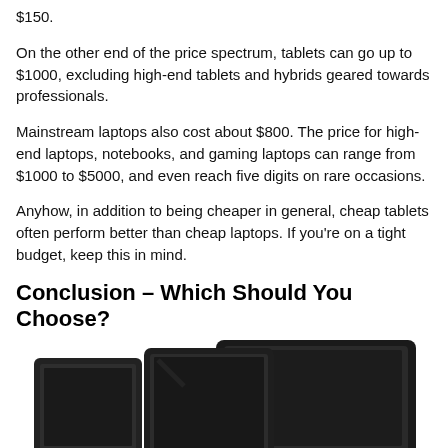$150.
On the other end of the price spectrum, tablets can go up to $1000, excluding high-end tablets and hybrids geared towards professionals.
Mainstream laptops also cost about $800. The price for high-end laptops, notebooks, and gaming laptops can range from $1000 to $5000, and even reach five digits on rare occasions.
Anyhow, in addition to being cheaper in general, cheap tablets often perform better than cheap laptops. If you're on a tight budget, keep this in mind.
Conclusion – Which Should You Choose?
[Figure (photo): Photo of a tablet and laptop placed side by side, showing black devices against a white background.]